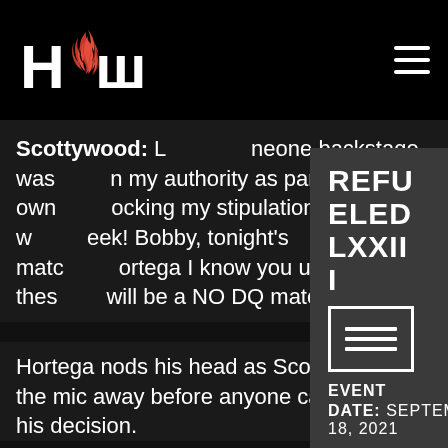HOW (logo and hamburger menu)
Scottywood: L...neone backstage was... my authority as partial own...ocking my stipulations... w...eek! Bobby, tonight's matc...ortega I know you under thes... will be a NO DQ match! No...
[Figure (infographic): Popup card overlay showing REFUELED LXXII event info with event icon and date SEPTEMBER 18, 2021]
Hortega nods his head as Scotty tosses the mic away before anyone can counter his decision.